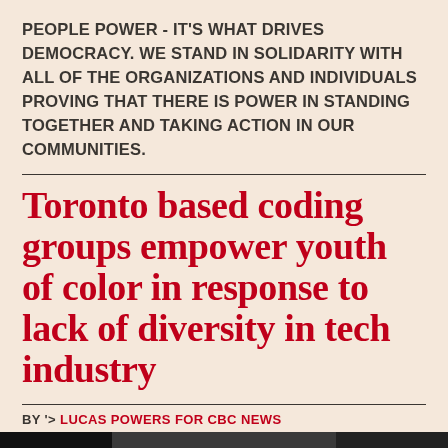PEOPLE POWER - IT'S WHAT DRIVES DEMOCRACY. WE STAND IN SOLIDARITY WITH ALL OF THE ORGANIZATIONS AND INDIVIDUALS PROVING THAT THERE IS POWER IN STANDING TOGETHER AND TAKING ACTION IN OUR COMMUNITIES.
Toronto based coding groups empower youth of color in response to lack of diversity in tech industry
BY '> LUCAS POWERS FOR CBC NEWS
[Figure (photo): Dark photograph strip at the bottom of the page, partially visible]